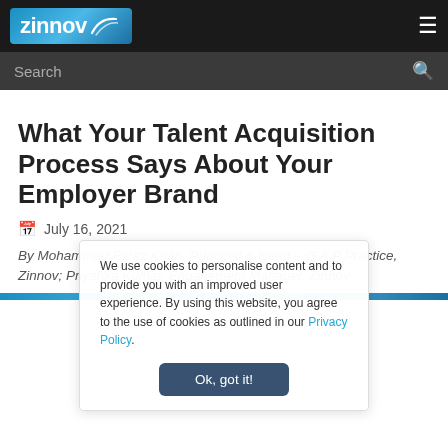zinnov [logo] [hamburger menu]
Search [search icon]
What Your Talent Acquisition Process Says About Your Employer Brand
July 16, 2021
By Mohammed Faraz Khan, Principal & Head – G.A.P Practice, Zinnov; Priyanka Kumar, Engagement Manager, Zinnov
We use cookies to personalise content and to provide you with an improved user experience. By using this website, you agree to the use of cookies as outlined in our Privacy Policy.
Ok, got it!